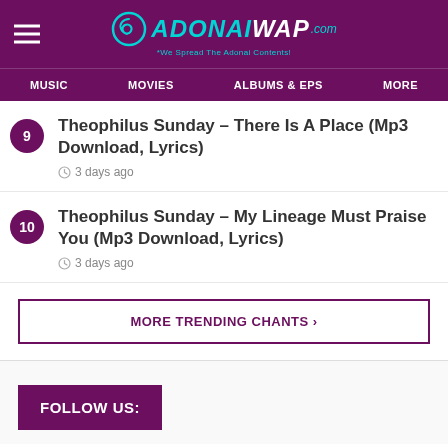AdonaiWap.com - We Spread The Adonai Contents!
9 Theophilus Sunday – There Is A Place (Mp3 Download, Lyrics) 3 days ago
10 Theophilus Sunday – My Lineage Must Praise You (Mp3 Download, Lyrics) 3 days ago
MORE TRENDING CHANTS ›
FOLLOW US: